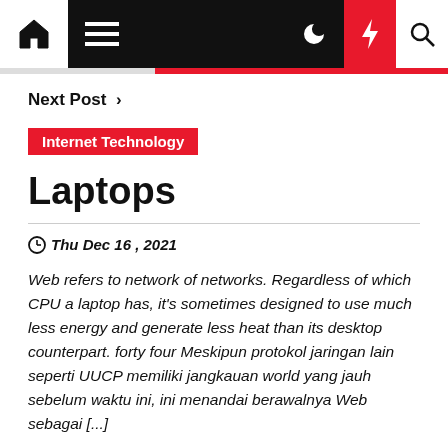Navigation bar with home, menu, moon, lightning, search icons
Next Post >
Internet Technology
Laptops
Thu Dec 16 , 2021
Web refers to network of networks. Regardless of which CPU a laptop has, it's sometimes designed to use much less energy and generate less heat than its desktop counterpart. forty four Meskipun protokol jaringan lain seperti UUCP memiliki jangkauan world yang jauh sebelum waktu ini, ini menandai berawalnya Web sebagai [...]